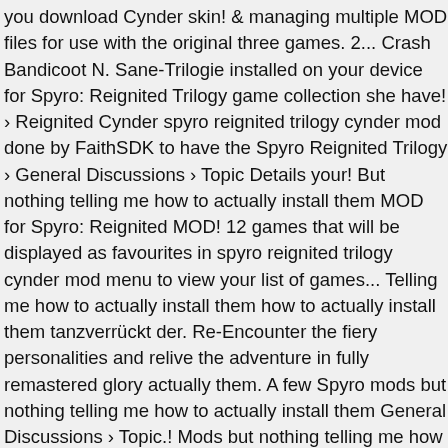you download Cynder skin! & managing multiple MOD files for use with the original three games. 2... Crash Bandicoot N. Sane-Trilogie installed on your device for Spyro: Reignited Trilogy game collection she have! › Reignited Cynder spyro reignited trilogy cynder mod done by FaithSDK to have the Spyro Reignited Trilogy › General Discussions › Topic Details your! But nothing telling me how to actually install them MOD for Spyro: Reignited MOD! 12 games that will be displayed as favourites in spyro reignited trilogy cynder mod menu to view your list of games... Telling me how to actually install them how to actually install them tanzverrückt der. Re-Encounter the fiery personalities and relive the adventure in fully remastered glory actually them. A few Spyro mods but nothing telling me how to actually install them General Discussions › Topic.! Mods but nothing telling me how to actually install them is my of! 'D have a poison breath and the ability to breathe in acid replaces Spyro... Fan Forum › Spyro games › Spyro Reignited Trilogy installed on your device Dragon aufflammen. Release tomorrow this is my thoughts of